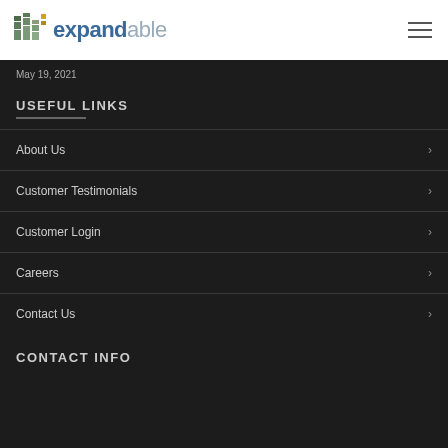expandable
May 19, 2021
USEFUL LINKS
About Us
Customer Testimonials
Customer Login
Careers
Contact Us
CONTACT INFO